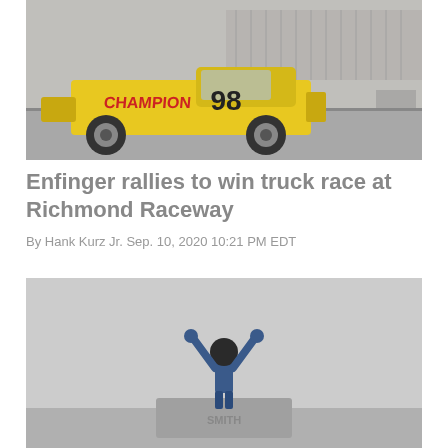[Figure (photo): NASCAR truck #98 with CHAMPION branding on a yellow truck at Richmond Raceway, seen from the side on the track]
Enfinger rallies to win truck race at Richmond Raceway
By Hank Kurz Jr. Sep. 10, 2020 10:21 PM EDT
[Figure (photo): A driver standing on top of a NASCAR truck with both arms raised in victory celebration, hazy/misty conditions at the track]